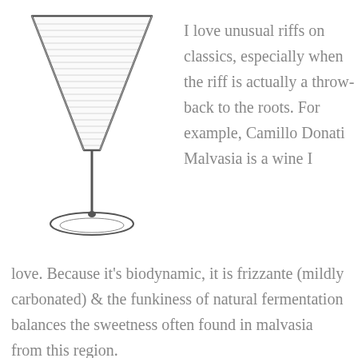[Figure (illustration): Line drawing of a martini glass with horizontal hatching in the background behind the bowl of the glass.]
I love unusual riffs on classics, especially when the riff is actually a throw-back to the roots. For example, Camillo Donati Malvasia is a wine I love. Because it’s biodynamic, it is frizzante (mildly carbonated) & the funkiness of natural fermentation balances the sweetness often found in malvasia from this region.